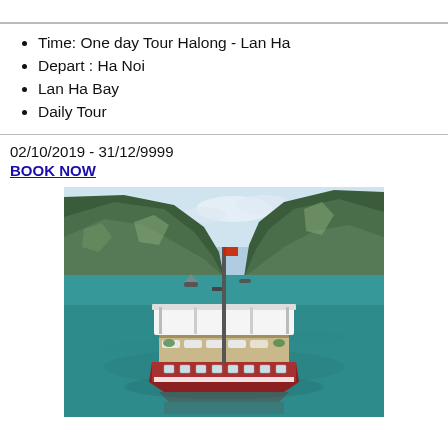Time: One day Tour Halong - Lan Ha
Depart : Ha Noi
Lan Ha Bay
Daily Tour
02/10/2019 - 31/12/9999
BOOK NOW
[Figure (photo): A traditional Vietnamese junk boat with white canopy and red-trimmed hull sailing on turquoise-green waters of Halong Bay or Lan Ha Bay, surrounded by dramatic limestone karst mountains covered in lush green vegetation. Other smaller boats visible in the background.]